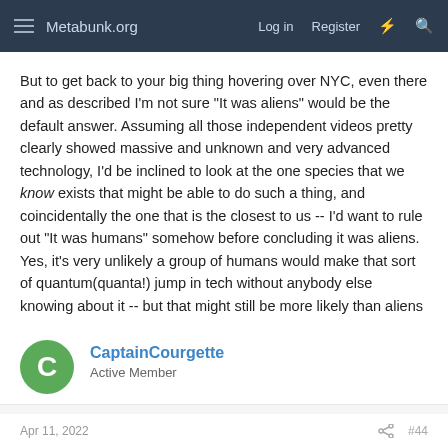Metabunk.org  Log in  Register
But to get back to your big thing hovering over NYC, even there and as described I'm not sure "It was aliens" would be the default answer. Assuming all those independent videos pretty clearly showed massive and unknown and very advanced technology, I'd be inclined to look at the one species that we know exists that might be able to do such a thing, and coincidentally the one that is the closest to us -- I'd want to rule out "It was humans" somehow before concluding it was aliens. Yes, it's very unlikely a group of humans would make that sort of quantum(quanta!) jump in tech without anybody else knowing about it -- but that might still be more likely than aliens showing up here and then just flying away.
CaptainCourgette
Active Member
Apr 11, 2022  #44